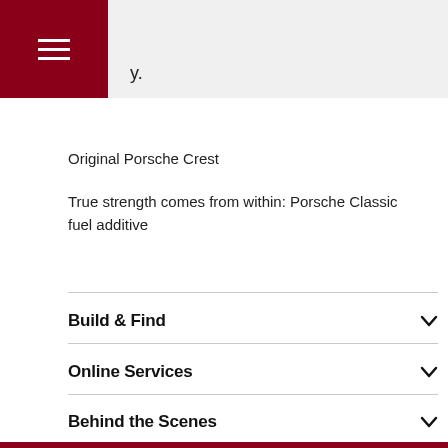.
Original Porsche Crest
True strength comes from within: Porsche Classic fuel additive
Build & Find
Online Services
Behind the Scenes
Porsche Company